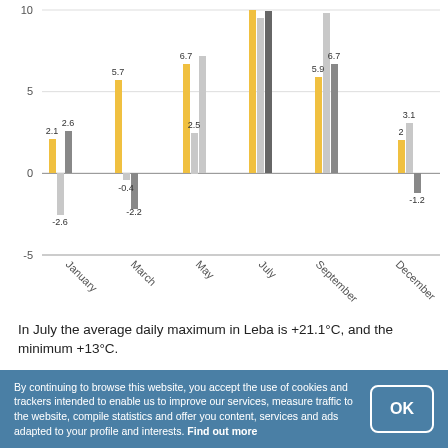[Figure (grouped-bar-chart): Monthly temperature anomalies in Leba]
In July the average daily maximum in Leba is +21.1°C, and the minimum +13°C.
By continuing to browse this website, you accept the use of cookies and trackers intended to enable us to improve our services, measure traffic to the website, compile statistics and offer you content, services and ads adapted to your profile and interests. Find out more